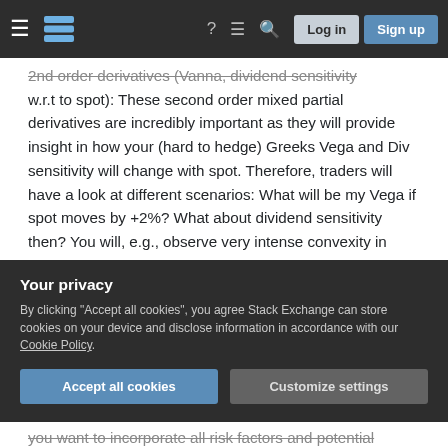Stack Exchange navigation bar with hamburger menu, logo, help, chat, search icons, Log in and Sign up buttons
2nd order derivatives (Vanna, dividend sensitivity w.r.t to spot): These second order mixed partial derivatives are incredibly important as they will provide insight in how your (hard to hedge) Greeks Vega and Div sensitivity will change with spot. Therefore, traders will have a look at different scenarios: What will be my Vega if spot moves by +2%? What about dividend sensitivity then? You will, e.g., observe very intense convexity in your sensitivity towards dividends once spot moves significantly. How can you hedge this 2nd order Greek? Well, you could try to buy dividend options
Your privacy
By clicking "Accept all cookies", you agree Stack Exchange can store cookies on your device and disclose information in accordance with our Cookie Policy.
you want to incorporate all risk factors and potential